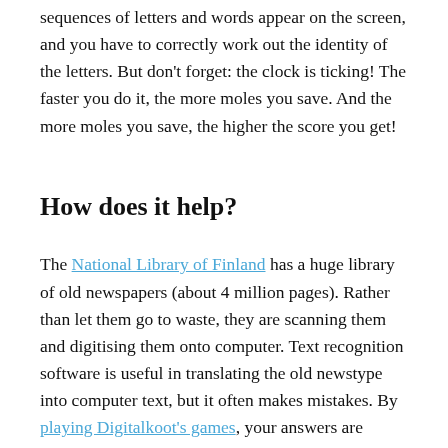sequences of letters and words appear on the screen, and you have to correctly work out the identity of the letters. But don't forget: the clock is ticking! The faster you do it, the more moles you save. And the more moles you save, the higher the score you get!
How does it help?
The National Library of Finland has a huge library of old newspapers (about 4 million pages). Rather than let them go to waste, they are scanning them and digitising them onto computer. Text recognition software is useful in translating the old newstype into computer text, but it often makes mistakes. By playing Digitalkoot's games, your answers are giving a help to them with the work b they are to do.